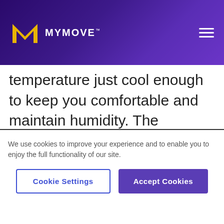MYMOVE
temperature just cool enough to keep you comfortable and maintain humidity. The department recommends 78 degrees as the optimal temperature for spring and summer.
We use cookies to improve your experience and to enable you to enjoy the full functionality of our site.
Cookie Settings | Accept Cookies